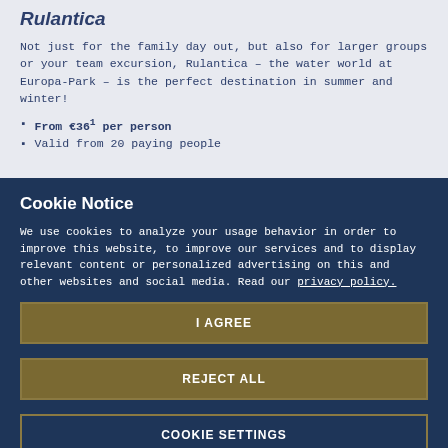Rulantica
Not just for the family day out, but also for larger groups or your team excursion, Rulantica – the water world at Europa-Park – is the perfect destination in summer and winter!
From €36¹ per person
Valid from 20 paying people
Cookie Notice
We use cookies to analyze your usage behavior in order to improve this website, to improve our services and to display relevant content or personalized advertising on this and other websites and social media. Read our privacy policy.
I AGREE
REJECT ALL
COOKIE SETTINGS